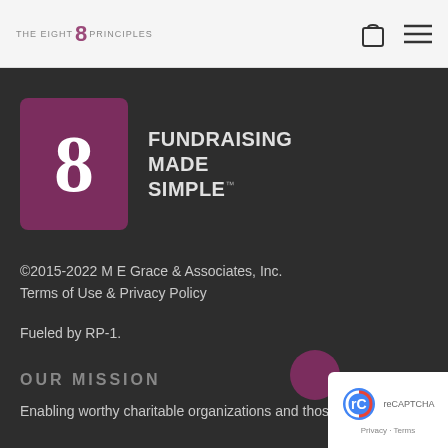THE EIGHT 8 PRINCIPLES
[Figure (logo): Square purple box with large white number 8 and text FUNDRAISING MADE SIMPLE with trademark symbol]
©2015-2022 M E Grace & Associates, Inc.
Terms of Use & Privacy Policy
Fueled by RP-1.
OUR MISSION
Enabling worthy charitable organizations and those who